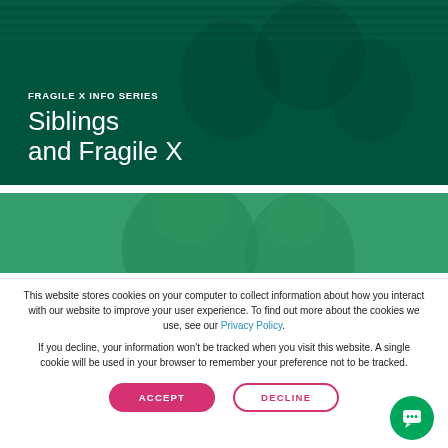[Figure (photo): Green-tinted photo of people (children/family) with dark green overlay, showing the Fragile X Info Series header area]
FRAGILE X INFO SERIES
Siblings and Fragile X
[Figure (photo): Green-tinted photo of two children (boys), partially visible, with medium green overlay]
This website stores cookies on your computer to collect information about how you interact with our website to improve your user experience. To find out more about the cookies we use, see our Privacy Policy.
If you decline, your information won't be tracked when you visit this website. A single cookie will be used in your browser to remember your preference not to be tracked.
ACCEPT
DECLINE